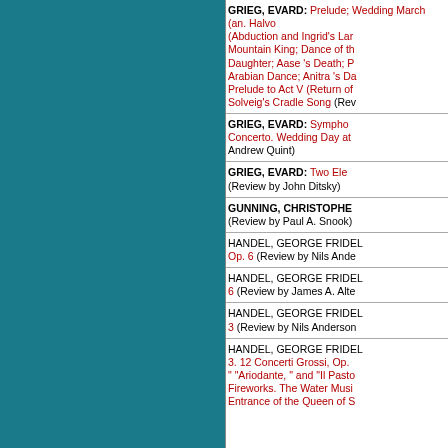GRIEG, EDVARD: Prelude; Wedding March (an. Halvord); (Abduction and Ingrid's Lament); In the Hall of the Mountain King; Dance of the Mountain King's Daughter; Aase 's Death; Peer Gynt's Homecoming; Arabian Dance; Anitra 's Dance; Solveig's Song; Prelude to Act V (Return of Peer Gynt); Solveig's Cradle Song (Rev...)
GRIEG, EDVARD: Symphonic Concerto. Wedding Day at ... Andrew Quint)
GRIEG, EDVARD: Two Ele... (Review by John Ditsky)
GUNNING, CHRISTOPHER... (Review by Paul A. Snook)
HANDEL, GEORGE FRIDERIC: ... Op. 6 (Review by Nils Ande...)
HANDEL, GEORGE FRIDERIC: ... 6 (Review by James A. Alte...)
HANDEL, GEORGE FRIDERIC: ... 3 (Review by Nils Anderson...)
HANDEL, GEORGE FRIDERIC: ... 3. 12 Concerti Grossi, Op. ... "Ariodante, " and "Il Pasto... Fireworks. The Water Musi... Entrance of the Queen of S...